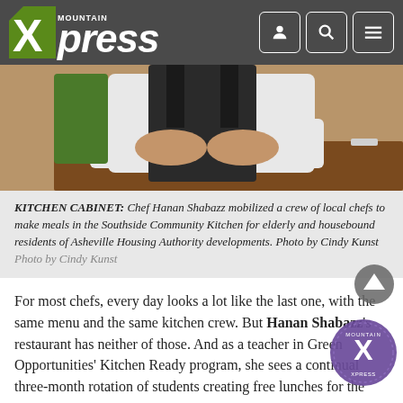Mountain Xpress
[Figure (photo): Chef Hanan Shabazz seated at a wooden table wearing a white chef coat and black apron, hands clasped on table, cropped at torso level.]
KITCHEN CABINET: Chef Hanan Shabazz mobilized a crew of local chefs to make meals in the Southside Community Kitchen for elderly and housebound residents of Asheville Housing Authority developments. Photo by Cindy Kunst Photo by Cindy Kunst
For most chefs, every day looks a lot like the last one, with the same menu and the same kitchen crew. But Hanan Shabazz's restaurant has neither of those. And as a teacher in Green Opportunities' Kitchen Ready program, she sees a continual three-month rotation of students creating free lunches for the community.
Launched in 2011 and based out of what was originally the African-American Livingston Street School in